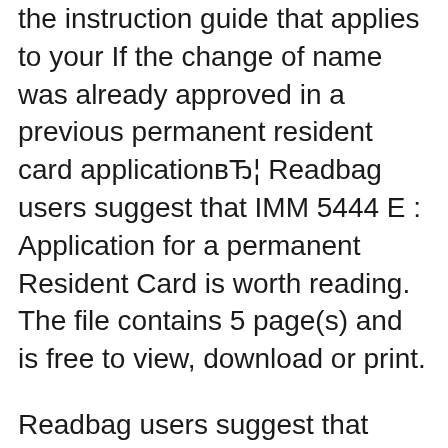the instruction guide that applies to your If the change of name was already approved in a previous permanent resident card applicationвЂ¦ Readbag users suggest that IMM 5444 E : Application for a permanent Resident Card is worth reading. The file contains 5 page(s) and is free to view, download or print.
Readbag users suggest that IMM 5444 E : Application for a permanent Resident Card is worth reading. The file contains 5 page(s) and is free to view, download or print. ... renew or replace a Permanent Resident Card Request for Permanent Resident Card indicating sex out your application forms. Read the